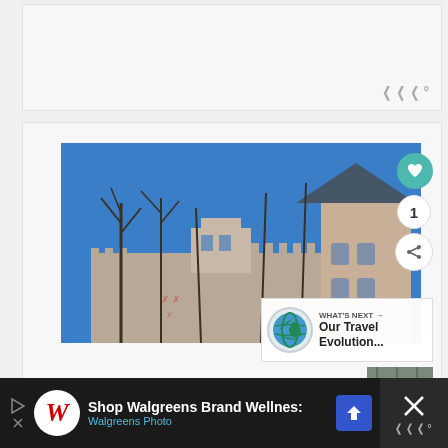[Figure (other): Top banner advertisement area with light gray background and small logo icon in bottom right corner]
[Figure (photo): Castle photograph showing a large round stone tower with battlements, bare winter trees, and a historic building with blue sky background. Overlaid with heart/like button (teal), count showing 1, share button, and a 'What's Next' panel showing 'Our Travel Evolution...' with a globe icon and a small thumbnail image.]
[Figure (other): Bottom advertisement bar for Walgreens showing 'Shop Walgreens Brand Wellness:' text, Walgreens Photo sub-label, Walgreens W logo, navigation icon, and close X button with logo on dark background]